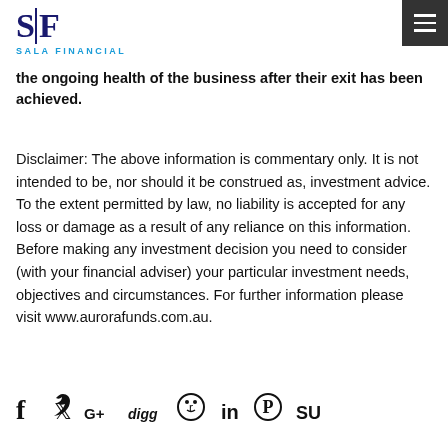Sala Financial — logo and navigation header
the ongoing health of the business after their exit has been achieved.
Disclaimer: The above information is commentary only. It is not intended to be, nor should it be construed as, investment advice. To the extent permitted by law, no liability is accepted for any loss or damage as a result of any reliance on this information. Before making any investment decision you need to consider (with your financial adviser) your particular investment needs, objectives and circumstances. For further information please visit www.aurorafunds.com.au.
[Figure (infographic): Row of social media sharing icons: Facebook (f), Twitter (bird), Google+ (G+), Digg (digg), Reddit (alien circle), LinkedIn (in), Pinterest (P), StumbleUpon (Su)]